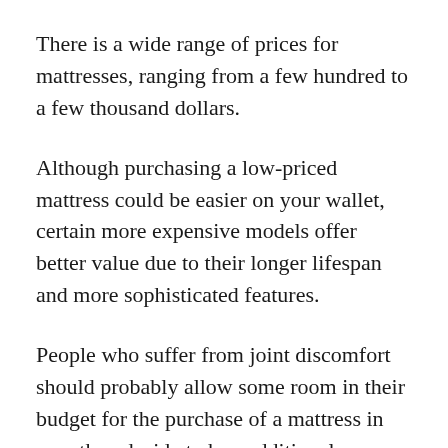There is a wide range of prices for mattresses, ranging from a few hundred to a few thousand dollars.
Although purchasing a low-priced mattress could be easier on your wallet, certain more expensive models offer better value due to their longer lifespan and more sophisticated features.
People who suffer from joint discomfort should probably allow some room in their budget for the purchase of a mattress in case they decide to buy additional accessories to increase their level of comfort.
It is possible that adjustable bed frames, pillows, and mattress toppers are helpful tools that can be used to enhance the sleeping experience of...